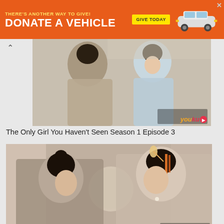[Figure (photo): Orange advertisement banner: 'THERE'S ANOTHER WAY TO GIVE! DONATE A VEHICLE — GIVE TODAY' with car image and X close button]
[Figure (photo): Video thumbnail from Youku showing two women in traditional Chinese hanfu facing each other closely, muted warm tones]
The Only Girl You Haven’t Seen Season 1 Episode 3
[Figure (photo): Video thumbnail from Youku showing two people in traditional Chinese historical costumes facing each other, interior setting, warm tones]
The Only Girl You Haven’t Seen Season 1 Episode 2